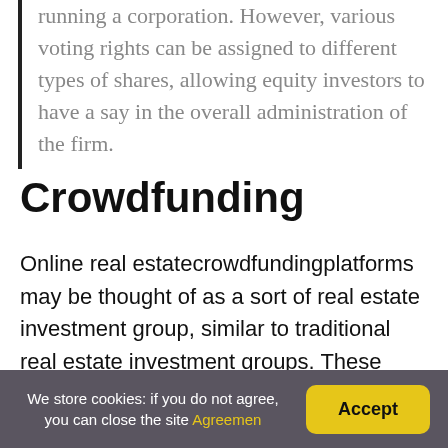running a corporation. However, various voting rights can be assigned to different types of shares, allowing equity investors to have a say in the overall administration of the firm.
Crowdfunding
Online real estatecrowdfundingplatforms may be thought of as a sort of real estate investment group, similar to traditional real estate investment groups. These platforms are formed as partnerships, and all revenue is passed through to investment partners, who are then provided with a K-1 tax form. The
We store cookies: if you do not agree, you can close the site Agreemen